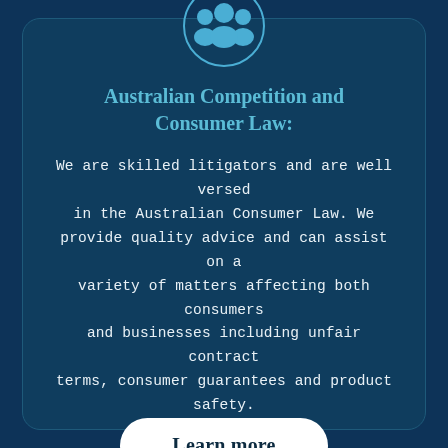[Figure (illustration): A circular icon with a light blue group of people (three figures) on a dark blue background, partially cropped at the top of the card.]
Australian Competition and Consumer Law:
We are skilled litigators and are well versed in the Australian Consumer Law. We provide quality advice and can assist on a variety of matters affecting both consumers and businesses including unfair contract terms, consumer guarantees and product safety.
Learn more